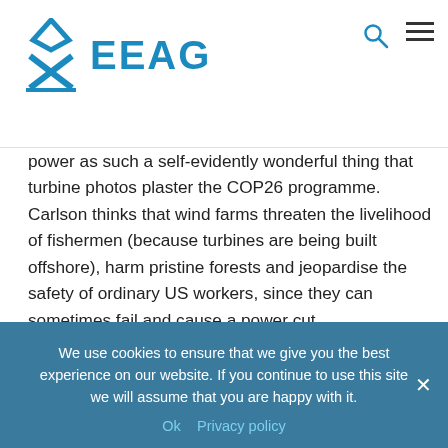[Figure (logo): EEAG logo with blue diamond/arrow icon and blue text 'EEAG']
power as such a self-evidently wonderful thing that turbine photos plaster the COP26 programme. Carlson thinks that wind farms threaten the livelihood of fishermen (because turbines are being built offshore), harm pristine forests and jeopardise the safety of ordinary US workers, since they can sometimes fail and cause a power cut.
“This is about enrich[ing] the most powerful people in the country at the expense of the most vulnerable — it’s exploitation of the weak by the powerful,” says Carlson. “It’s foreign companies that will make a fortune” More specifically,
We use cookies to ensure that we give you the best experience on our website. If you continue to use this site we will assume that you are happy with it.
Ok   Privacy policy